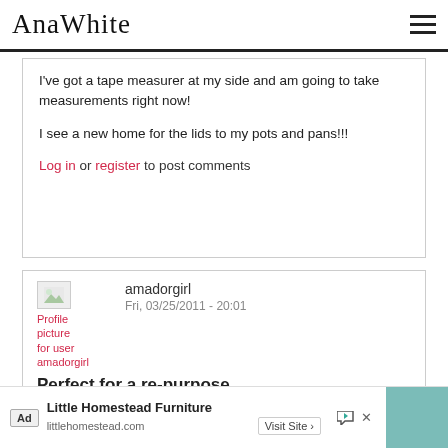Ana White
I've got a tape measurer at my side and am going to take measurements right now!

I see a new home for the lids to my pots and pans!!!
Log in or register to post comments
amador girl
Fri, 03/25/2011 - 20:01
Perfect for a re-purpose
I have a beautiful mission style entertainment center. I am considering mounting my tv on the wall and ...
Ad Little Homestead Furniture littlehomestead.com Visit Site